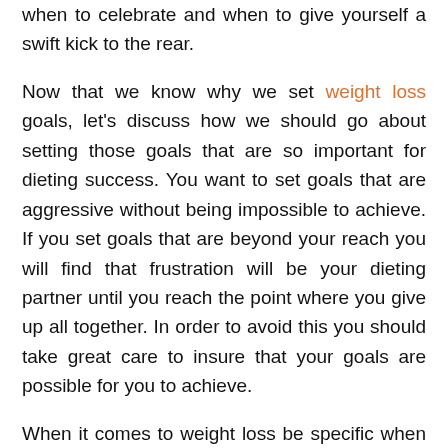when to celebrate and when to give yourself a swift kick to the rear.
Now that we know why we set weight loss goals, let's discuss how we should go about setting those goals that are so important for dieting success. You want to set goals that are aggressive without being impossible to achieve. If you set goals that are beyond your reach you will find that frustration will be your dieting partner until you reach the point where you give up all together. In order to avoid this you should take great care to insure that your goals are possible for you to achieve.
When it comes to weight loss be specific when setting your goals. Rather than setting a total goal of 40 or 60 pounds start with a specific goal such as 10 pounds in one month. Then you can extend the goal